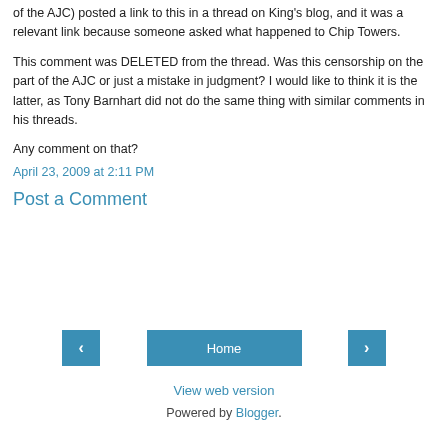of the AJC) posted a link to this in a thread on King's blog, and it was a relevant link because someone asked what happened to Chip Towers.
This comment was DELETED from the thread. Was this censorship on the part of the AJC or just a mistake in judgment? I would like to think it is the latter, as Tony Barnhart did not do the same thing with similar comments in his threads.
Any comment on that?
April 23, 2009 at 2:11 PM
Post a Comment
[Figure (other): Navigation bar with left arrow, Home button, and right arrow buttons in blue]
View web version
Powered by Blogger.